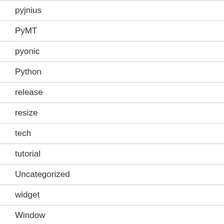pyjnius
PyMT
pyonic
Python
release
resize
tech
tutorial
Uncategorized
widget
Window